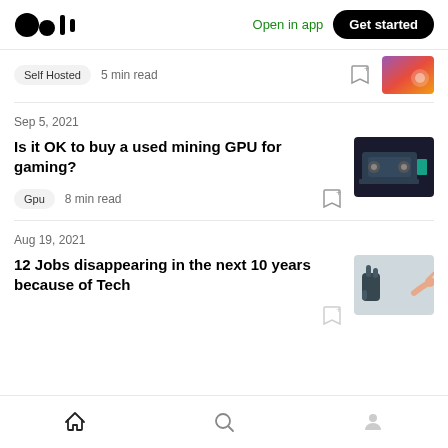Medium logo | Open in app | Get started
Self Hosted  5 min read
Sep 5, 2021
Is it OK to buy a used mining GPU for gaming?
Gpu  8 min read
Aug 19, 2021
12 Jobs disappearing in the next 10 years because of Tech
Home | Search | Profile